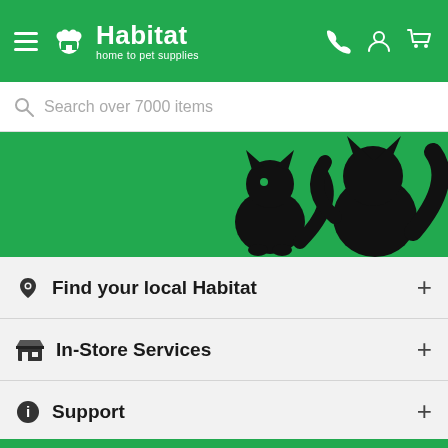[Figure (screenshot): Habitat pet supplies website header with green background, hamburger menu, paw print logo, company name 'Habitat', tagline 'home to pet supplies', and icons for phone, account, and cart]
Search over 7000 items
[Figure (illustration): Green banner with black silhouette cats]
Find your local Habitat
In-Store Services
Support
About us
Live Chat